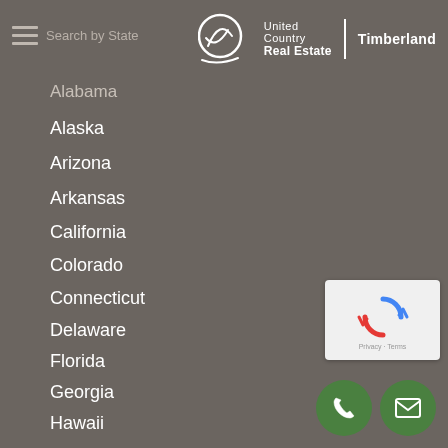Search by State — United Country Real Estate Timberland
Alabama
Alaska
Arizona
Arkansas
California
Colorado
Connecticut
Delaware
Florida
Georgia
Hawaii
Idaho
Illinois
[Figure (logo): United Country Real Estate Timberland logo with white circular icon and text]
[Figure (other): reCAPTCHA widget with Privacy and Terms links]
[Figure (other): Green circular phone contact button]
[Figure (other): Green circular email contact button]